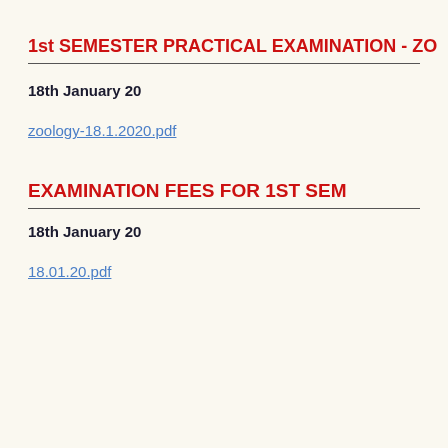1st SEMESTER PRACTICAL EXAMINATION - ZO
18th January 20
zoology-18.1.2020.pdf
EXAMINATION FEES FOR 1ST SEM
18th January 20
18.01.20.pdf